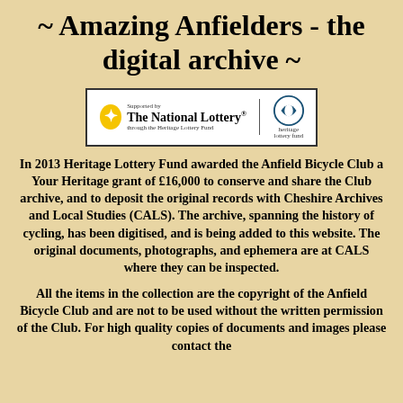~ Amazing Anfielders - the digital archive ~
[Figure (logo): The National Lottery Heritage Lottery Fund logo in a bordered box]
In 2013 Heritage Lottery Fund awarded the Anfield Bicycle Club a Your Heritage grant of £16,000 to conserve and share the Club archive, and to deposit the original records with Cheshire Archives and Local Studies (CALS). The archive, spanning the history of cycling, has been digitised, and is being added to this website. The original documents, photographs, and ephemera are at CALS where they can be inspected.
All the items in the collection are the copyright of the Anfield Bicycle Club and are not to be used without the written permission of the Club. For high quality copies of documents and images please contact the